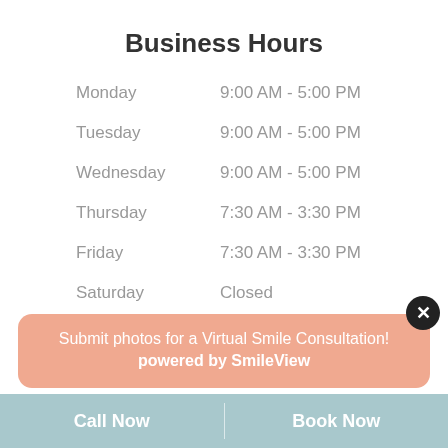Business Hours
| Day | Hours |
| --- | --- |
| Monday | 9:00 AM - 5:00 PM |
| Tuesday | 9:00 AM - 5:00 PM |
| Wednesday | 9:00 AM - 5:00 PM |
| Thursday | 7:30 AM - 3:30 PM |
| Friday | 7:30 AM - 3:30 PM |
| Saturday | Closed |
| Sunday | Closed |
Submit photos for a Virtual Smile Consultation! powered by SmileView
Call Now  Book Now